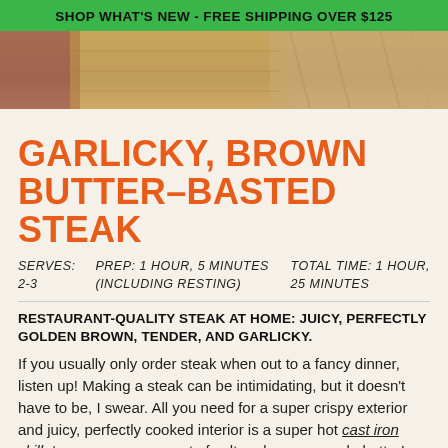SHOP WHAT'S NEW - FREE SHIPPING OVER $125
[Figure (photo): Close-up photo of corn on the cob with colorful kernels on a wooden surface]
GARLICKY, BROWN BUTTER–BASTED STEAK
SERVES: 2-3   PREP: 1 HOUR, 5 MINUTES (INCLUDING RESTING)   TOTAL TIME: 1 HOUR, 25 MINUTES
RESTAURANT-QUALITY STEAK AT HOME: JUICY, PERFECTLY GOLDEN BROWN, TENDER, AND GARLICKY.
If you usually only order steak when out to a fancy dinner, listen up! Making a steak can be intimidating, but it doesn't have to be, I swear. All you need for a super crispy exterior and juicy, perfectly cooked interior is a super hot cast iron skillet, a generous amount of salt and pepper, and...butter! Butter is used to baste the steak, ensuring an evenly golden crust as the hot